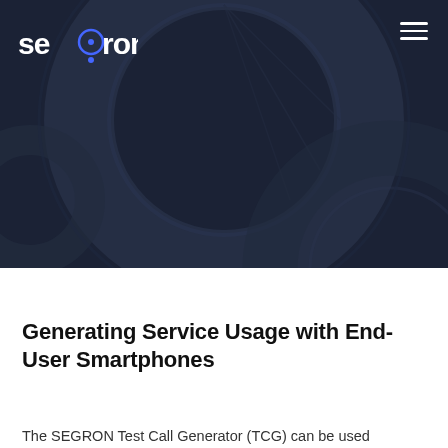[Figure (illustration): Dark navy hero banner with decorative concentric circle/donut ring graphics in dark grey overlay, serving as a background image for the SEGRON company page]
Generating Service Usage with End-User Smartphones
The SEGRON Test Call Generator (TCG) can be used...